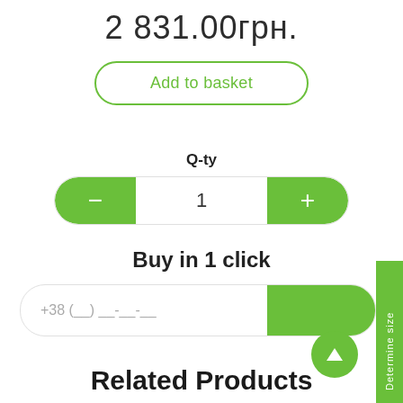2 831.00грн.
Add to basket
Q-ty
1
Buy in 1 click
+38 (__) __-__-__
Determine size
Related Products